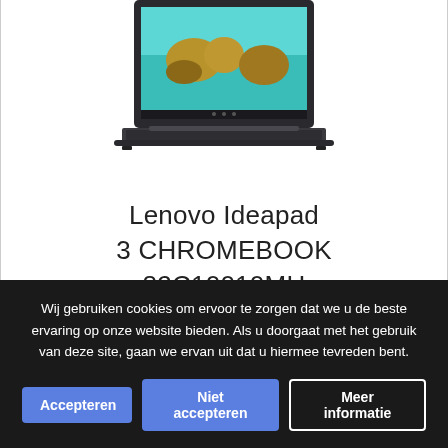[Figure (photo): Lenovo Ideapad Chromebook laptop with teal/turquoise wallpaper showing a landscape, dark gray body, partially visible from top]
Lenovo Ideapad 3 CHROMEBOOK 82C10010MH
Wij gebruiken cookies om ervoor te zorgen dat we u de beste ervaring op onze website bieden. Als u doorgaat met het gebruik van deze site, gaan we ervan uit dat u hiermee tevreden bent.
Accepteren | Niet accepteren | Meer informatie